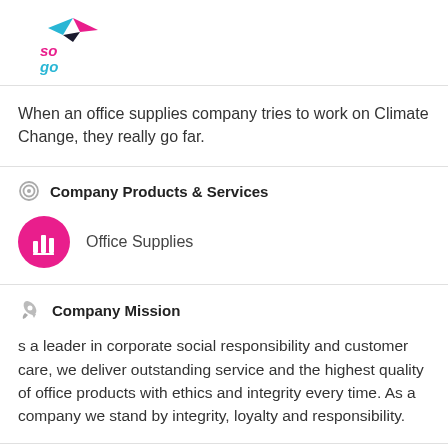[Figure (logo): Sogo company logo with pink 'so', blue 'go' italic text and a teal/pink bird/arrow icon]
When an office supplies company tries to work on Climate Change, they really go far.
Company Products & Services
Office Supplies
Company Mission
s a leader in corporate social responsibility and customer care, we deliver outstanding service and the highest quality of office products with ethics and integrity every time. As a company we stand by integrity, loyalty and responsibility.
Gallery